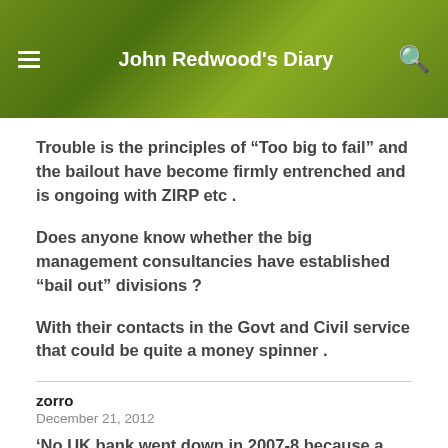John Redwood's Diary
Trouble is the principles of “Too big to fail” and the bailout have become firmly entrenched and is ongoing with ZIRP etc .
Does anyone know whether the big management consultancies have established “bail out” divisions ?
With their contacts in the Govt and Civil service that could be quite a money spinner .
zorro
December 21, 2012
‘No UK bank went down in 2007-8 because a risky “casino” bank undermined a good retail bank.’ … I think it was more to